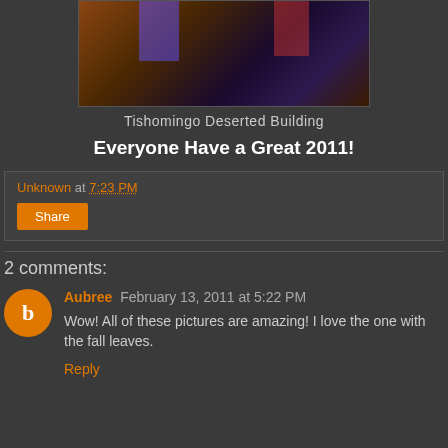[Figure (photo): Night photo of Tishomingo deserted building with colored lights (blue, purple, red) illuminating windows]
Tishomingo Deserted Building
Everyone Have a Great 2011!
Unknown at 7:23 PM
Share
2 comments:
Aubree February 13, 2011 at 5:22 PM
Wow! All of these pictures are amazing! I love the one with the fall leaves.
Reply